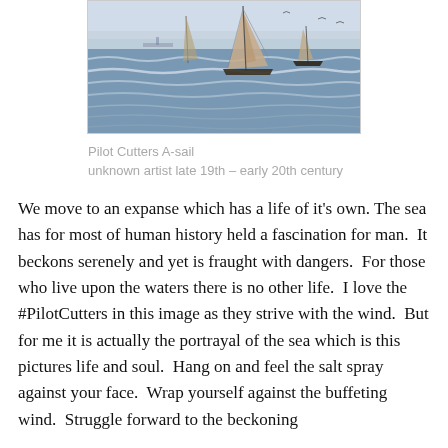[Figure (photo): Painting of sailing vessels (pilot cutters) on a choppy sea, late 19th to early 20th century maritime artwork.]
Pilot Cutters A-sail
unknown artist late 19th – early 20th century
We move to an expanse which has a life of it's own. The sea has for most of human history held a fascination for man.  It beckons serenely and yet is fraught with dangers.  For those who live upon the waters there is no other life.  I love the #PilotCutters in this image as they strive with the wind.  But for me it is actually the portrayal of the sea which is this pictures life and soul.  Hang on and feel the salt spray against your face.  Wrap yourself against the buffeting wind.  Struggle forward to the beckoning